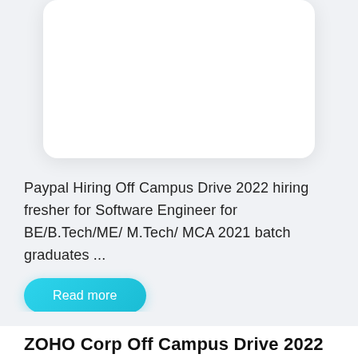[Figure (other): White rounded card partially visible at top of page, with shadow, on light grey background]
Paypal Hiring Off Campus Drive 2022 hiring fresher for Software Engineer for BE/B.Tech/ME/ M.Tech/ MCA 2021 batch graduates ...
Read more
ZOHO Corp Off Campus Drive 2022 Recruitment For Technical Support Engineer | Freshers from any stream